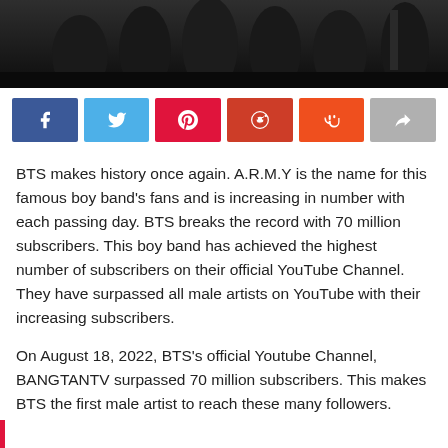[Figure (photo): Group photo of BTS members in dark suits against a dark background, cropped to show upper portion]
[Figure (infographic): Social media share buttons row: Facebook (dark blue), Twitter (light blue), Pinterest (red), Reddit (orange-red), StumbleUpon (orange), Share (gray)]
BTS makes history once again. A.R.M.Y is the name for this famous boy band's fans and is increasing in number with each passing day. BTS breaks the record with 70 million subscribers. This boy band has achieved the highest number of subscribers on their official YouTube Channel. They have surpassed all male artists on YouTube with their increasing subscribers.
On August 18, 2022, BTS's official Youtube Channel, BANGTANTV surpassed 70 million subscribers. This makes BTS the first male artist to reach these many followers.